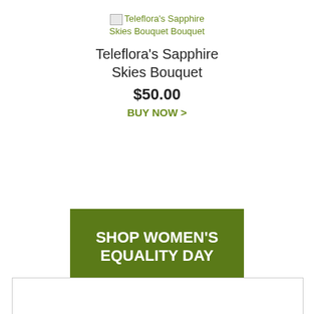[Figure (other): Broken image placeholder with olive-colored link text: Teleflora's Sapphire Skies Bouquet Bouquet]
Teleflora's Sapphire Skies Bouquet
$50.00
BUY NOW >
SHOP WOMEN'S EQUALITY DAY
[Figure (other): Bottom box with border, appears to be a partially visible content area]